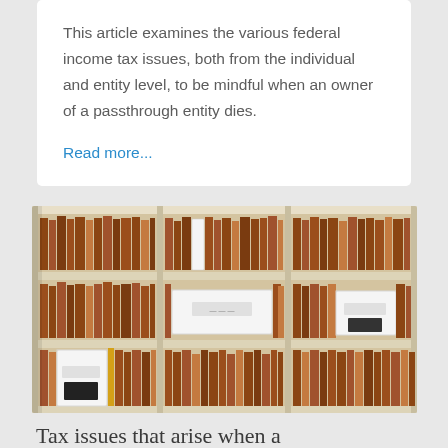This article examines the various federal income tax issues, both from the individual and entity level, to be mindful when an owner of a passthrough entity dies.
Read more...
[Figure (photo): Photograph of office shelving units filled with brown manila folders, legal files, and white banker boxes organized in a grid of cubby shelves.]
Tax issues that arise when a